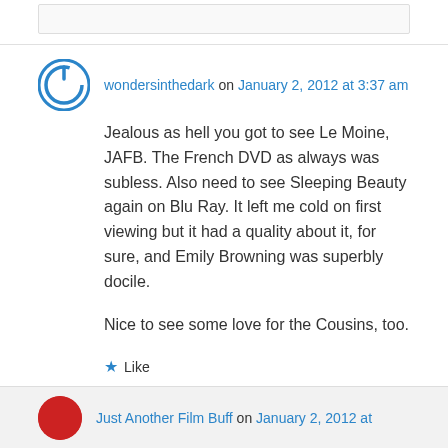wondersinthedark on January 2, 2012 at 3:37 am
Jealous as hell you got to see Le Moine, JAFB. The French DVD as always was subless. Also need to see Sleeping Beauty again on Blu Ray. It left me cold on first viewing but it had a quality about it, for sure, and Emily Browning was superbly docile.
Nice to see some love for the Cousins, too.
Like
Reply
Just Another Film Buff on January 2, 2012 at